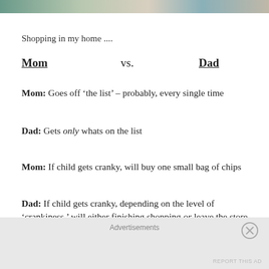[Figure (photo): Top strip showing partial photo of people, likely a family shopping scene]
Shopping in my home ....
Mom vs. Dad
Mom: Goes off ‘the list’ – probably, every single time
Dad: Gets only whats on the list
Mom: If child gets cranky, will buy one small bag of chips
Dad: If child gets cranky, depending on the level of ‘crankiness,’ will either finishing shopping or leave the store
Mom: Budget?! ..... she tried!
Advertisements